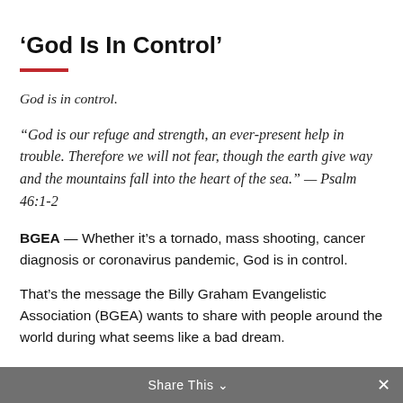'God Is In Control'
God is in control.
“God is our refuge and strength, an ever-present help in trouble. Therefore we will not fear, though the earth give way and the mountains fall into the heart of the sea.” — Psalm 46:1-2
BGEA — Whether it’s a tornado, mass shooting, cancer diagnosis or coronavirus pandemic, God is in control.
That’s the message the Billy Graham Evangelistic Association (BGEA) wants to share with people around the world during what seems like a bad dream.
Share This